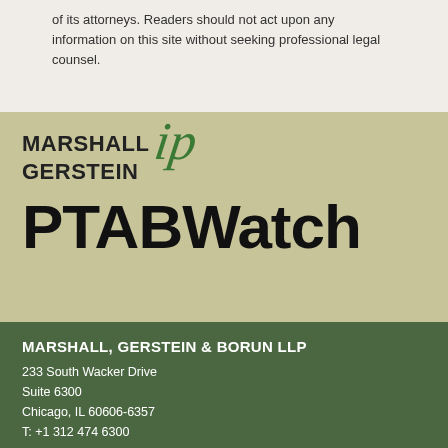of its attorneys. Readers should not act upon any information on this site without seeking professional legal counsel.
[Figure (logo): Marshall Gerstein IP logo with stylized 'ip' script and PTABWatch text]
MARSHALL, GERSTEIN & BORUN LLP
233 South Wacker Drive
Suite 6300
Chicago, IL 60606-6357
T: +1 312 474 6300